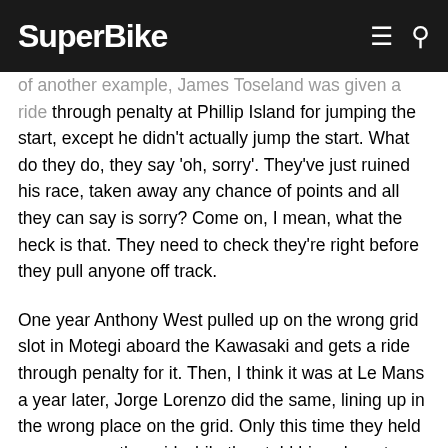SuperBike
of another example, James Toseland was given a ride through penalty at Phillip Island for jumping the start, except he didn't actually jump the start. What do they do, they say 'oh, sorry'. They've just ruined his race, taken away any chance of points and all they can say is sorry? Come on, I mean, what the heck is that. They need to check they're right before they pull anyone off track.
One year Anthony West pulled up on the wrong grid slot in Motegi aboard the Kawasaki and gets a ride through penalty for it. Then, I think it was at Le Mans a year later, Jorge Lorenzo did the same, lining up in the wrong place on the grid. Only this time they held everyone on the grid while they told him where to go and waited for him to do it. So we have the same situation, but two different outcomes.